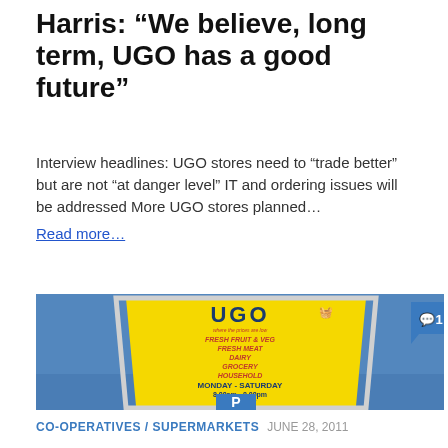Harris: “We believe, long term, UGO has a good future”
Interview headlines: UGO stores need to “trade better” but are not “at danger level” IT and ordering issues will be addressed More UGO stores planned…
Read more…
[Figure (photo): Photograph of a UGO supermarket yellow sign showing store categories (Fresh Fruit & Veg, Fresh Meat, Dairy, Grocery, Household) and opening hours (Monday-Saturday 8.00am-8.00pm, Sunday 10.00am-4.00pm), with a blue sky background and a comment badge showing '1' in the top right corner.]
CO-OPERATIVES / SUPERMARKETS  JUNE 28, 2011